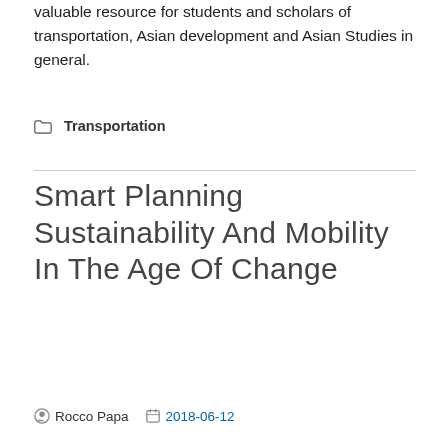valuable resource for students and scholars of transportation, Asian development and Asian Studies in general.
Transportation
Smart Planning Sustainability And Mobility In The Age Of Change
Rocco Papa  2018-06-12